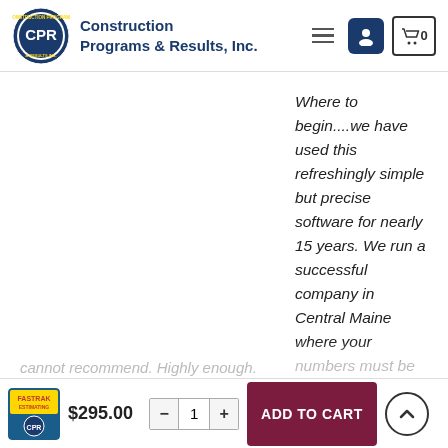[Figure (logo): CPR Construction Programs & Results Inc. circular logo with person icon, cart icon 0, and hamburger menu in header]
Where to begin....we have used this refreshingly simple but precise software for nearly 15 years. We run a successful company in Central Maine where your numbers must be right to not only survive but also to thrive. This software coupled with the patient help from Devon and Michael, enabled us to do that. While we have looked at other products over the years (costing thousands of dollars), none have been able to replicate the simplicity and detail I can get from Fast Track. I am
$295.00
ADD TO CART